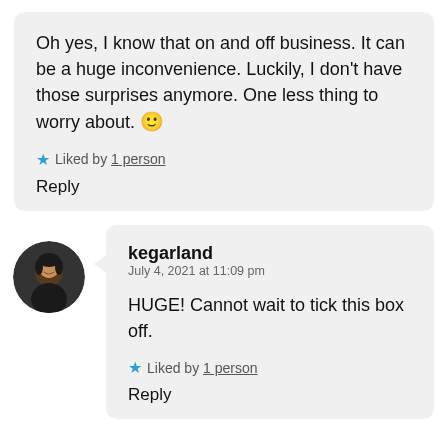Oh yes, I know that on and off business. It can be a huge inconvenience. Luckily, I don't have those surprises anymore. One less thing to worry about. 🙂
Liked by 1 person
Reply
[Figure (photo): Circular avatar photo of a person, dark background]
kegarland
July 4, 2021 at 11:09 pm
HUGE! Cannot wait to tick this box off.
Liked by 1 person
Reply